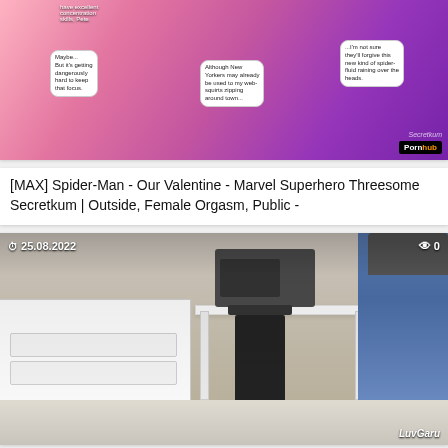[Figure (screenshot): Thumbnail of animated/cartoon content with speech bubbles and Pornhub branding overlay]
[MAX] Spider-Man - Our Valentine - Marvel Superhero Threesome Secretkum | Outside, Female Orgasm, Public -
[Figure (screenshot): Video thumbnail dated 25.08.2022 showing a kitchen scene with LuvGaru watermark, view count 0]
[MAX] I Paying Off Husbands Debts In Front Of Him | Cuckold Cumkiss LuvGaru | Rough Sex, Cumkiss, Sex